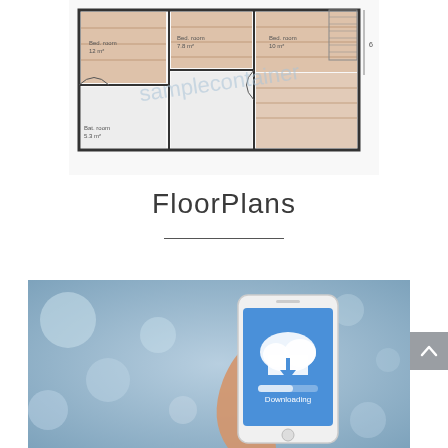[Figure (schematic): Floor plan blueprint of a residential unit showing multiple rooms with wood-effect flooring, including bedrooms, bathroom, and common areas. Watermarked with 'samplecontainer' text.]
FloorPlans
[Figure (photo): A hand holding a white smartphone displaying a blue cloud download screen with a download icon and progress bar labeled 'Downloading'. Background is blurred blue with bokeh circles.]